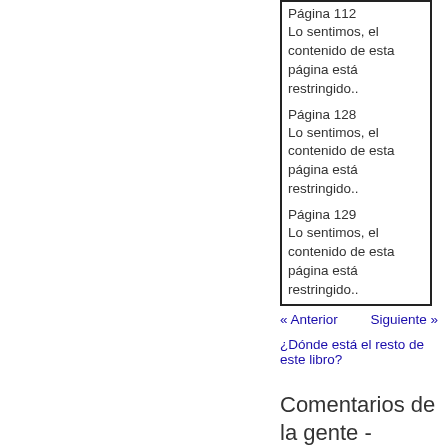Página 112
Lo sentimos, el contenido de esta página está restringido..
Página 128
Lo sentimos, el contenido de esta página está restringido..
Página 129
Lo sentimos, el contenido de esta página está restringido..
« Anterior   Siguiente »
¿Dónde está el resto de este libro?
Comentarios de la gente - Escribir un comentario